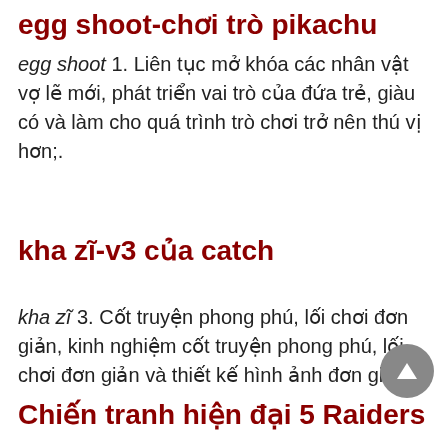egg shoot-chơi trò pikachu
egg shoot 1. Liên tục mở khóa các nhân vật vợ lẽ mới, phát triển vai trò của đứa trẻ, giàu có và làm cho quá trình trò chơi trở nên thú vị hơn;.
kha zĩ-v3 của catch
kha zĩ 3. Cốt truyện phong phú, lối chơi đơn giản, kinh nghiệm cốt truyện phong phú, lối chơi đơn giản và thiết kế hình ảnh đơn giản..
Chiến tranh hiện đại 5 Raiders